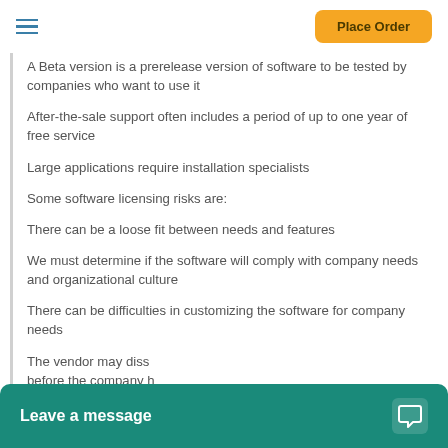Place Order
A Beta version is a prerelease version of software to be tested by companies who want to use it
After-the-sale support often includes a period of up to one year of free service
Large applications require installation specialists
Some software licensing risks are:
There can be a loose fit between needs and features
We must determine if the software will comply with company needs and organizational culture
There can be difficulties in customizing the software for company needs
The vendor may diss... before the company h... support and mainten...